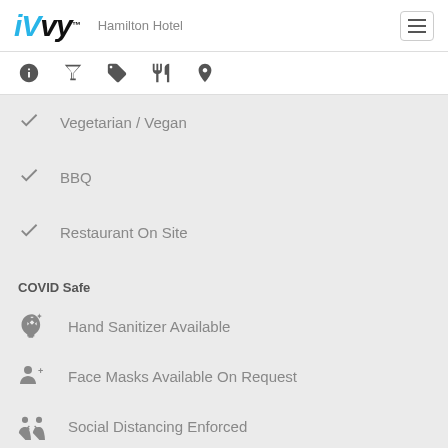iVvy - Hamilton Hotel
Vegetarian / Vegan
BBQ
Restaurant On Site
COVID Safe
Hand Sanitizer Available
Face Masks Available On Request
Social Distancing Enforced
Rooms & Surfaces Cleaned Frequently